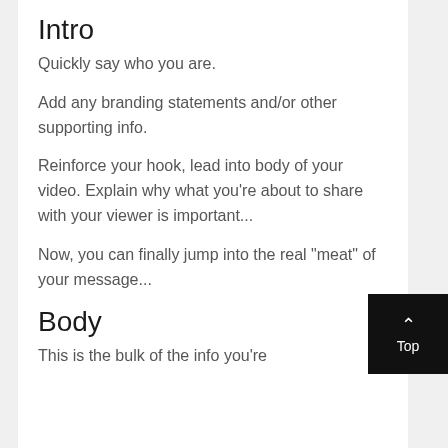Intro
Quickly say who you are.
Add any branding statements and/or other supporting info.
Reinforce your hook, lead into body of your video. Explain why what you’re about to share with your viewer is important...
Now, you can finally jump into the real “meat” of your message...
Body
This is the bulk of the info you’re